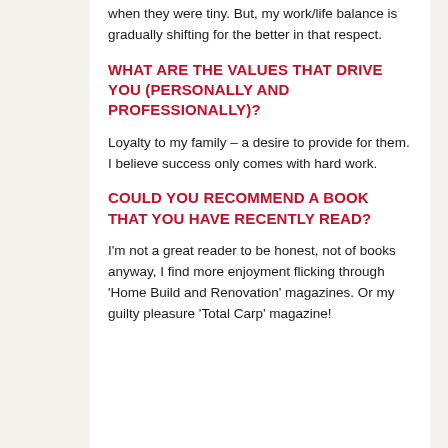when they were tiny. But, my work/life balance is gradually shifting for the better in that respect.
WHAT ARE THE VALUES THAT DRIVE YOU (PERSONALLY AND PROFESSIONALLY)?
Loyalty to my family – a desire to provide for them. I believe success only comes with hard work.
COULD YOU RECOMMEND A BOOK THAT YOU HAVE RECENTLY READ?
I'm not a great reader to be honest, not of books anyway, I find more enjoyment flicking through 'Home Build and Renovation' magazines. Or my guilty pleasure 'Total Carp' magazine!